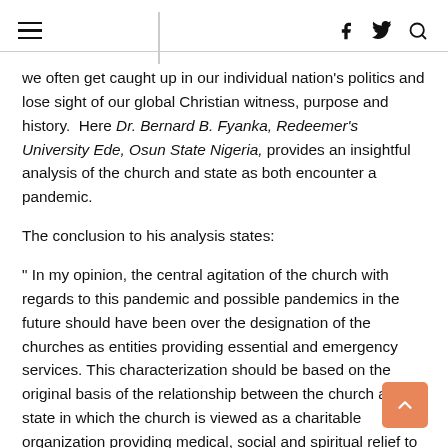≡   f  𝕏  🔍
we often get caught up in our individual nation's politics and lose sight of our global Christian witness, purpose and history.  Here Dr. Bernard B. Fyanka, Redeemer's University Ede, Osun State Nigeria, provides an insightful analysis of the church and state as both encounter a pandemic.
The conclusion to his analysis states:
" In my opinion, the central agitation of the church with regards to this pandemic and possible pandemics in the future should have been over the designation of the churches as entities providing essential and emergency services. This characterization should be based on the original basis of the relationship between the church and state in which the church is viewed as a charitable organization providing medical, social and spiritual relief to communities.The emphasis of the church should not have been on rights to